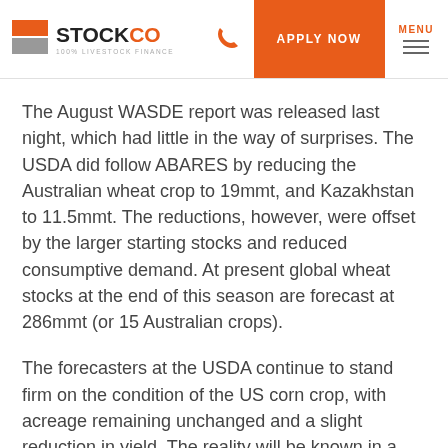STOCKCO 100% LIVESTOCK FINANCE | APPLY NOW | MENU
The August WASDE report was released last night, which had little in the way of surprises. The USDA did follow ABARES by reducing the Australian wheat crop to 19mmt, and Kazakhstan to 11.5mmt. The reductions, however, were offset by the larger starting stocks and reduced consumptive demand. At present global wheat stocks at the end of this season are forecast at 286mmt (or 15 Australian crops).
The forecasters at the USDA continue to stand firm on the condition of the US corn crop, with acreage remaining unchanged and a slight reduction in yield. The reality will be known in a few weeks when the lie detectors get into the crop.